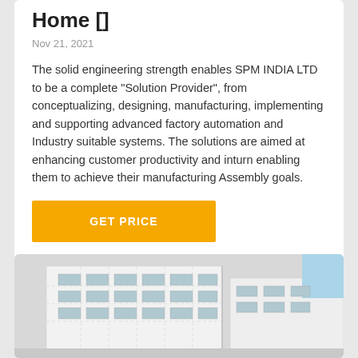Home []
Nov 21, 2021
The solid engineering strength enables SPM INDIA LTD to be a complete "Solution Provider", from conceptualizing, designing, manufacturing, implementing and supporting advanced factory automation and Industry suitable systems. The solutions are aimed at enhancing customer productivity and inturn enabling them to achieve their manufacturing Assembly goals.
GET PRICE
[Figure (photo): Exterior view of a white industrial/commercial building with grid-pattern windows]